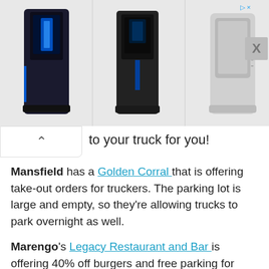[Figure (screenshot): Advertisement banner showing three 3D printers side by side with a close button (X) in the top right corner]
to your truck for you!
Mansfield has a Golden Corral that is offering take-out orders for truckers. The parking lot is large and empty, so they're allowing trucks to park overnight as well.
Marengo's Legacy Restaurant and Bar is offering 40% off burgers and free parking for truckers.
Middlefield has Mary Yoder's Amish Kitchen. The restaurant is offering local and long distance truckers a free meal, restroom access and a place